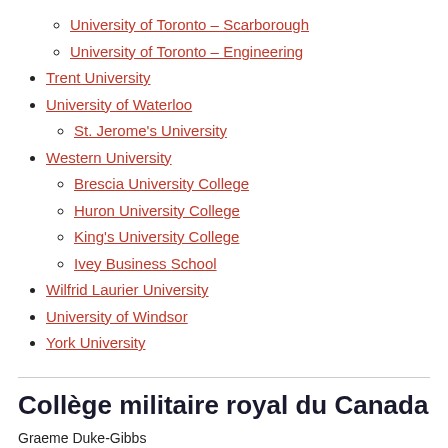University of Toronto – Scarborough
University of Toronto – Engineering
Trent University
University of Waterloo
St. Jerome's University
Western University
Brescia University College
Huron University College
King's University College
Ivey Business School
Wilfrid Laurier University
University of Windsor
York University
Collège militaire royal du Canada
Graeme Duke-Gibbs
Téléphone : 613-541-6000, p. 6953